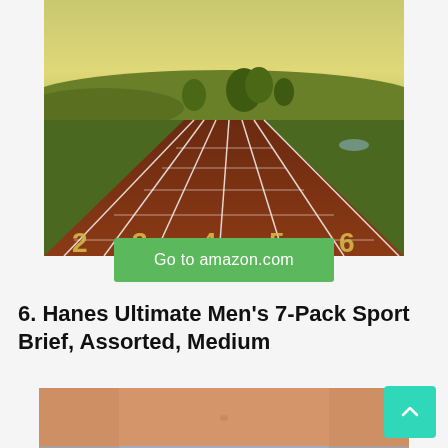[Figure (photo): Aerial perspective view of a red athletic running track with white lane dividers and lane numbers 2, 3, 4, 5, 6 visible, surrounded by green fields and trees under a hazy sky]
Go to amazon.com
6. Hanes Ultimate Men's 7-Pack Sport Brief, Assorted, Medium
[Figure (photo): Close-up of a person's torso wearing a grey/blue sport brief underwear, skin visible above waistband]